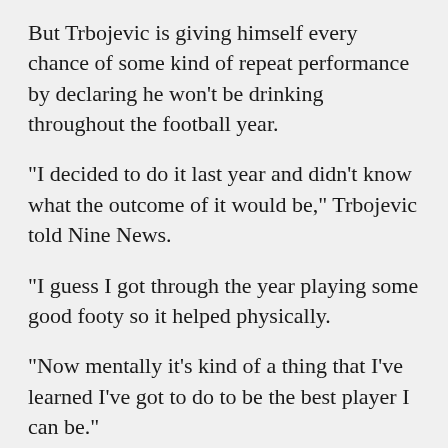But Trbojevic is giving himself every chance of some kind of repeat performance by declaring he won't be drinking throughout the football year.
“I decided to do it last year and didn’t know what the outcome of it would be,” Trbojevic told Nine News.
“I guess I got through the year playing some good footy so it helped physically.
“Now mentally it’s kind of a thing that I’ve learned I’ve got to do to be the best player I can be.”